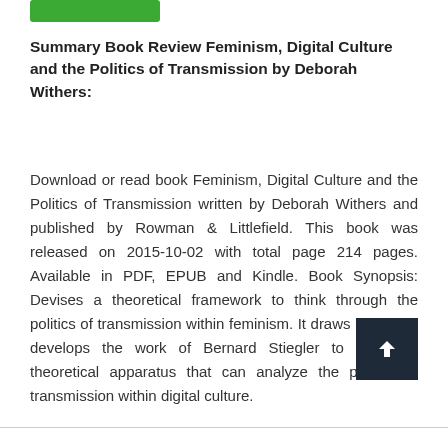Summary Book Review Feminism, Digital Culture and the Politics of Transmission by Deborah Withers:
Download or read book Feminism, Digital Culture and the Politics of Transmission written by Deborah Withers and published by Rowman & Littlefield. This book was released on 2015-10-02 with total page 214 pages. Available in PDF, EPUB and Kindle. Book Synopsis: Devises a theoretical framework to think through the politics of transmission within feminism. It draws upon and develops the work of Bernard Stiegler to create a theoretical apparatus that can analyze the politics of transmission within digital culture.